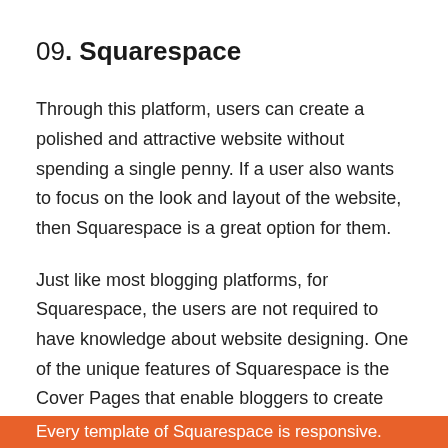09. Squarespace
Through this platform, users can create a polished and attractive website without spending a single penny. If a user also wants to focus on the look and layout of the website, then Squarespace is a great option for them.
Just like most blogging platforms, for Squarespace, the users are not required to have knowledge about website designing. One of the unique features of Squarespace is the Cover Pages that enable bloggers to create scrolling layouts.
Every template of Squarespace is responsive.